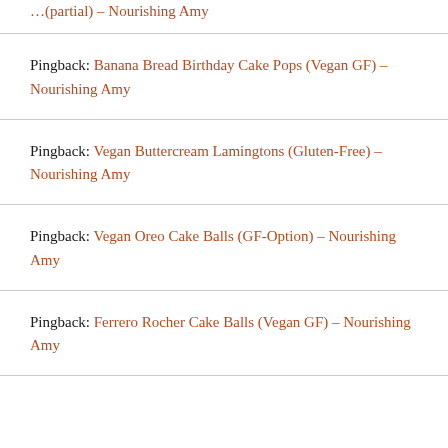…(partial) – Nourishing Amy
Pingback: Banana Bread Birthday Cake Pops (Vegan GF) – Nourishing Amy
Pingback: Vegan Buttercream Lamingtons (Gluten-Free) – Nourishing Amy
Pingback: Vegan Oreo Cake Balls (GF-Option) – Nourishing Amy
Pingback: Ferrero Rocher Cake Balls (Vegan GF) – Nourishing Amy